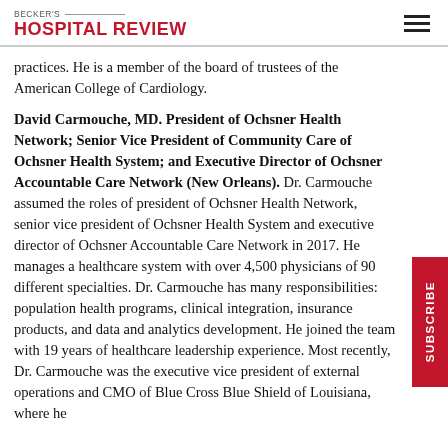BECKER'S HOSPITAL REVIEW
practices. He is a member of the board of trustees of the American College of Cardiology.
David Carmouche, MD. President of Ochsner Health Network; Senior Vice President of Community Care of Ochsner Health System; and Executive Director of Ochsner Accountable Care Network (New Orleans). Dr. Carmouche assumed the roles of president of Ochsner Health Network, senior vice president of Ochsner Health System and executive director of Ochsner Accountable Care Network in 2017. He manages a healthcare system with over 4,500 physicians of 90 different specialties. Dr. Carmouche has many responsibilities: population health programs, clinical integration, insurance products, and data and analytics development. He joined the team with 19 years of healthcare leadership experience. Most recently, Dr. Carmouche was the executive vice president of external operations and CMO of Blue Cross Blue Shield of Louisiana, where he